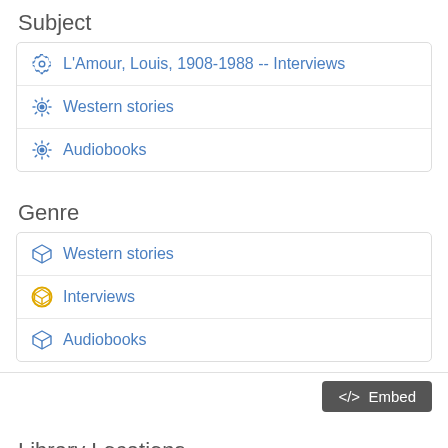Subject
L'Amour, Louis, 1908-1988 -- Interviews
Western stories
Audiobooks
Genre
Western stories
Interviews
Audiobooks
</> Embed
Library Locations
Map   Details